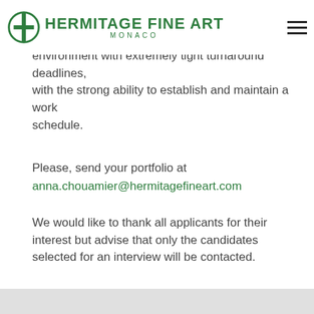HERMITAGE FINE ART MONACO
Individual must be able to work in a fast-paced environment with extremely tight turnaround deadlines, with the strong ability to establish and maintain a work schedule.
Please, send your portfolio at anna.chouamier@hermitagefineart.com
We would like to thank all applicants for their interest but advise that only the candidates selected for an interview will be contacted.